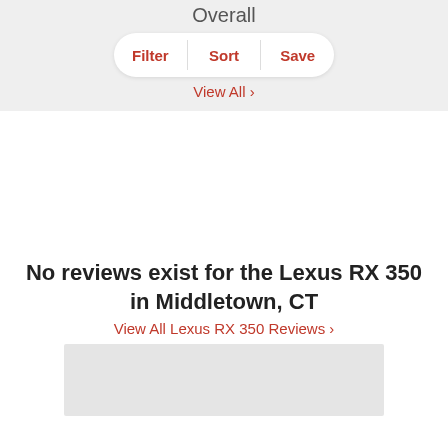Overall
Filter  Sort  Save
View All ›
No reviews exist for the Lexus RX 350 in Middletown, CT
View All Lexus RX 350 Reviews ›
[Figure (other): Gray placeholder box at the bottom of the page]